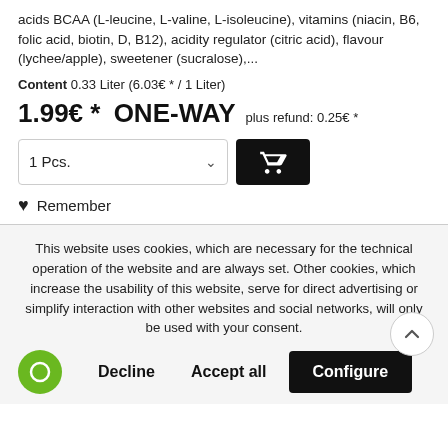acids BCAA (L-leucine, L-valine, L-isoleucine), vitamins (niacin, B6, folic acid, biotin, D, B12), acidity regulator (citric acid), flavour (lychee/apple), sweetener (sucralose),...
Content 0.33 Liter (6.03€ * / 1 Liter)
1.99€ *  ONE-WAY  plus refund: 0.25€ *
[Figure (screenshot): Quantity selector showing '1 Pcs.' with dropdown chevron, and black add-to-cart button with shopping cart icon]
Remember
This website uses cookies, which are necessary for the technical operation of the website and are always set. Other cookies, which increase the usability of this website, serve for direct advertising or simplify interaction with other websites and social networks, will only be used with your consent.
[Figure (screenshot): Cookie consent buttons: green circle icon, Decline, Accept all, and Configure (black button)]